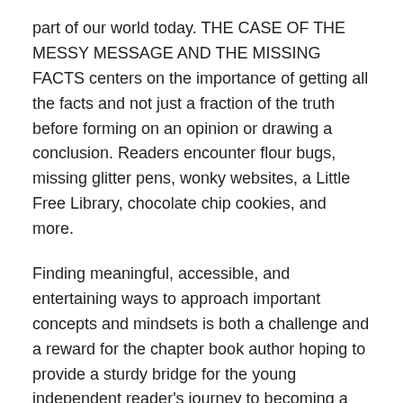part of our world today. THE CASE OF THE MESSY MESSAGE AND THE MISSING FACTS centers on the importance of getting all the facts and not just a fraction of the truth before forming on an opinion or drawing a conclusion. Readers encounter flour bugs, missing glitter pens, wonky websites, a Little Free Library, chocolate chip cookies, and more.
Finding meaningful, accessible, and entertaining ways to approach important concepts and mindsets is both a challenge and a reward for the chapter book author hoping to provide a sturdy bridge for the young independent reader's journey to becoming a lifelong reader.
Thank you for the tips, Judy! I know plenty of PB writers who would like to try the challenge of writing Chapter Books.